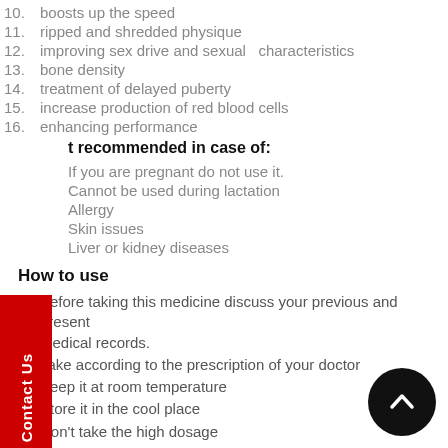10. boosts up the speed
11. ripped and shredded physique
12. improving sex drive and sexual  characteristics
13. bone density
14. treatment of delayed puberty
15. increase production of red blood cells
16. enhancing performance
t recommended in case of:
If you are pregnant do not use it.
Cannot be used during lactation
Allergy
Skin issues
Liver or kidney diseases
How to use
1. Before taking this medicine discuss your previous and present medical records.
2. Take according to the prescription of your doctor
3. Keep it at room temperature
4. Store it in the cool place
5. Don't take the high dosage
6. Daily monitor your medical condition
7. Check before use
8. It must be deduced with bacteriostatic water before using as it is